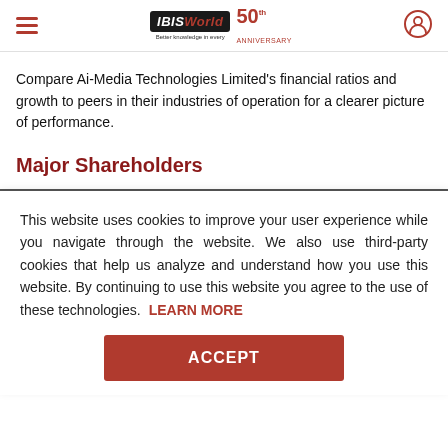IBISWorld 50th Anniversary
Compare Ai-Media Technologies Limited’s financial ratios and growth to peers in their industries of operation for a clearer picture of performance.
Major Shareholders
This website uses cookies to improve your user experience while you navigate through the website. We also use third-party cookies that help us analyze and understand how you use this website. By continuing to use this website you agree to the use of these technologies. LEARN MORE
ACCEPT